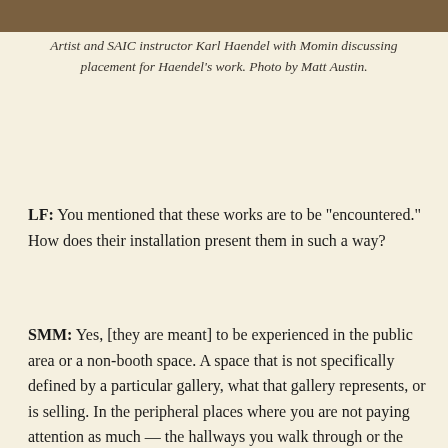[Figure (photo): Photo strip at top of page showing artist Karl Haendel with Momin]
Artist and SAIC instructor Karl Haendel with Momin discussing placement for Haendel's work. Photo by Matt Austin.
LF: You mentioned that these works are to be “encountered.” How does their installation present them in such a way?
SMM: Yes, [they are meant] to be experienced in the public area or a non-booth space. A space that is not specifically defined by a particular gallery, what that gallery represents, or is selling. In the peripheral places where you are not paying attention as much — the hallways you walk through or the “blank space.” I mean there’s really nowhere in a fair that is a blank space, but if you were to divide it that way, there are things that don’t belong to any one place except for the overall